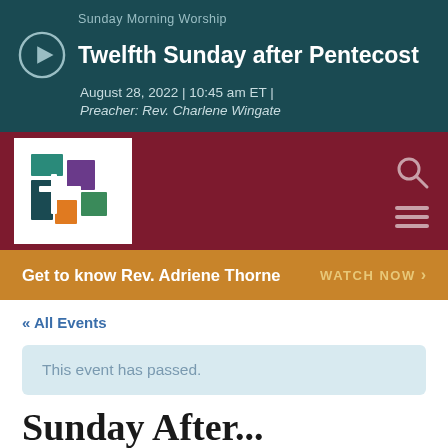Sunday Morning Worship
Twelfth Sunday after Pentecost
August 28, 2022  |  10:45 am ET  |
Preacher: Rev. Charlene Wingate
[Figure (logo): Church logo with colorful overlapping geometric shapes in teal, purple, orange, and green on white background]
Get to know Rev. Adriene Thorne   WATCH NOW ›
« All Events
This event has passed.
Sunday After…